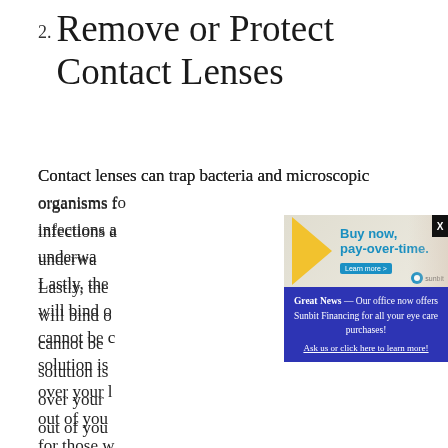2. Remove or Protect Contact Lenses
Contact lenses can trap bacteria and microscopic organisms found in water inside your eye, resulting in infections and even vision loss. You should never swim underwater with contact lenses in your eyes. Lastly, there is a chemical in pool water called chlorine will bind onto the lens making it uncomfortable and cannot be cleaned off. If removing your contacts solution is not possible, you can wear swim goggles over your lenses to keep the pool water out of your eyes. The best option, for those who must swim with contact lenses, remove them immediately after you leave the pool and discard or disinfect them thoroughly. It’s preferable to use 1-day disposable contact lenses during water activities, to reduce risk of water contaminating the contacts. Daily
[Figure (infographic): Advertisement popup modal with blue background. Contains a Sunbit 'Buy now, pay-over-time.' banner ad image at top with yellow chevron, teal text, and a woman with red hair. Below the ad image: text reading 'Great News — Our office now offers Sunbit Financing for all your eye care purchases! Ask us or click here to learn more!' on a dark blue background. An X close button in the top right corner.]